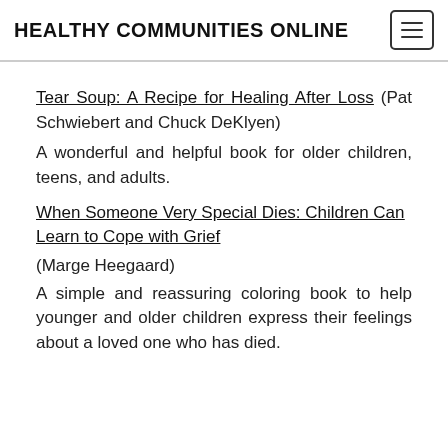HEALTHY COMMUNITIES ONLINE
Tear Soup: A Recipe for Healing After Loss (Pat Schwiebert and Chuck DeKlyen)
A wonderful and helpful book for older children, teens, and adults.
When Someone Very Special Dies: Children Can Learn to Cope with Grief
(Marge Heegaard)
A simple and reassuring coloring book to help younger and older children express their feelings about a loved one who has died.